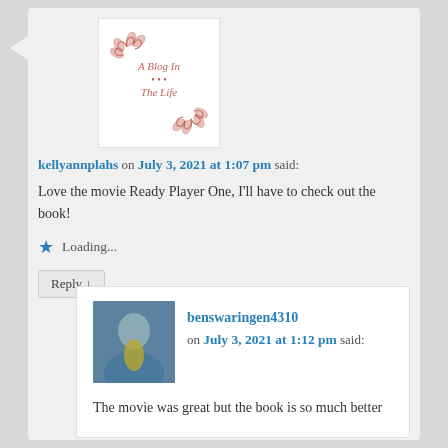[Figure (logo): A Blog In The Life logo with decorative leaf wreath in pink/red]
kellyannplahs on July 3, 2021 at 1:07 pm said:
Love the movie Ready Player One, I'll have to check out the book!
Loading...
Reply ↓
benswaringen4310 on July 3, 2021 at 1:12 pm said:
The movie was great but the book is so much better